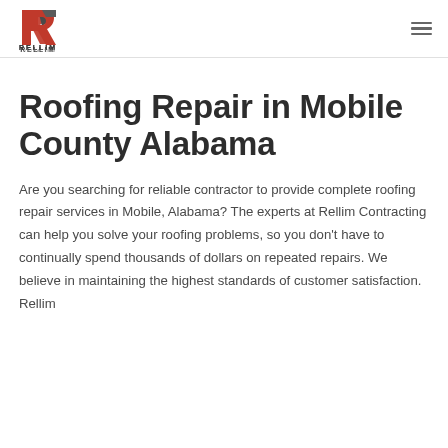Rellim Contracting logo and navigation
Roofing Repair in Mobile County Alabama
Are you searching for reliable contractor to provide complete roofing repair services in Mobile, Alabama? The experts at Rellim Contracting can help you solve your roofing problems, so you don’t have to continually spend thousands of dollars on repeated repairs. We believe in maintaining the highest standards of customer satisfaction. Rellim